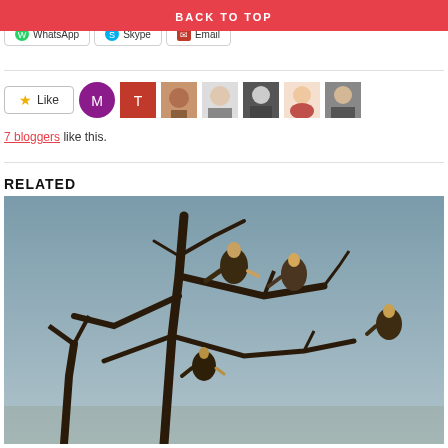BACK TO TOP
WhatsApp   Skype   Email
[Figure (other): Like button with star icon, followed by 7 blogger avatar thumbnails]
7 bloggers like this.
RELATED
[Figure (photo): Photograph of several vultures perched on bare dead tree branches against a grey-blue sky]